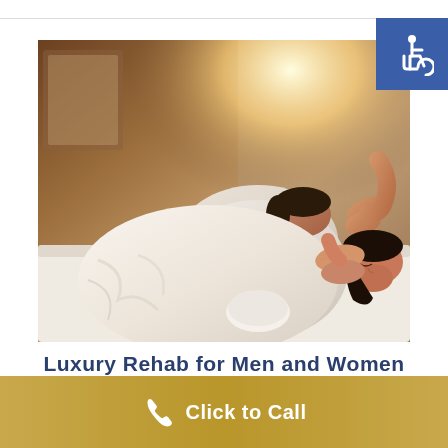[Figure (photo): Two women in white robes lying on massage tables receiving head massages from therapists in a spa-like setting with warm, bright lighting.]
Luxury Rehab for Men and Women
Click to Call